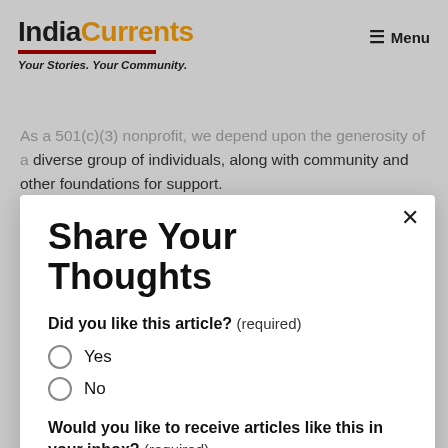IndiaCurrents — Your Stories. Your Community. | Menu
As a 501(c)(3) nonprofit, we depend upon the generosity of a diverse group of individuals, along with community and other foundations for support.
Share Your Thoughts
Did you like this article? (required)
Yes
No
Would you like to receive articles like this in your inbox? (required)